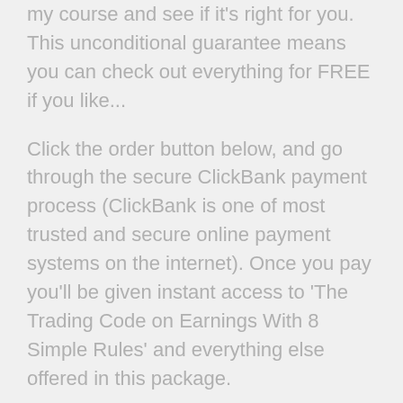my course and see if it's right for you. This unconditional guarantee means you can check out everything for FREE if you like...
Click the order button below, and go through the secure ClickBank payment process (ClickBank is one of most trusted and secure online payment systems on the internet). Once you pay you'll be given instant access to 'The Trading Code on Earnings With 8 Simple Rules' and everything else offered in this package.
You'll be taken to ClickBank's secure order form where you can safely pay by any major credit